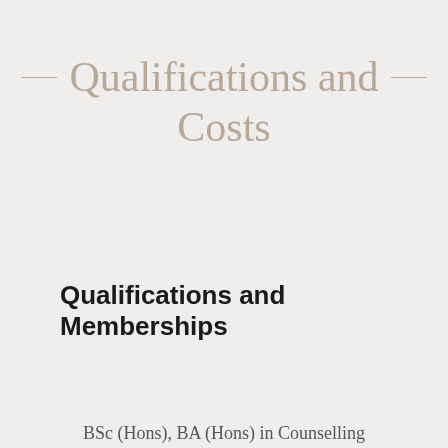Qualifications and Costs
Qualifications and Memberships
BSc (Hons), BA (Hons) in Counselling